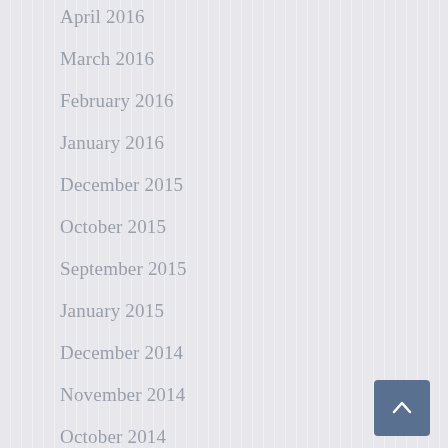April 2016
March 2016
February 2016
January 2016
December 2015
October 2015
September 2015
January 2015
December 2014
November 2014
October 2014
September 2014
August 2014
July 2014
June 2014